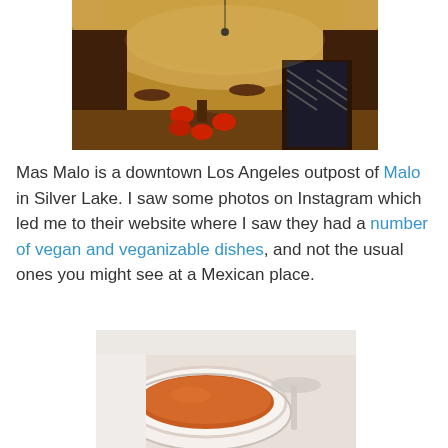[Figure (photo): Interior of Mas Malo restaurant showing a vaulted ceiling with ornate plasterwork, red chairs, wooden tables, a long bar with chevron pattern, and warm golden lighting.]
Mas Malo is a downtown Los Angeles outpost of Malo in Silver Lake. I saw some photos on Instagram which led me to their website where I saw they had a number of vegan and veganizable dishes, and not the usual ones you might see at a Mexican place.
[Figure (photo): Close-up photo of a bowl of orange/red soup or broth in a white ceramic bowl, with a spoon visible in the background.]